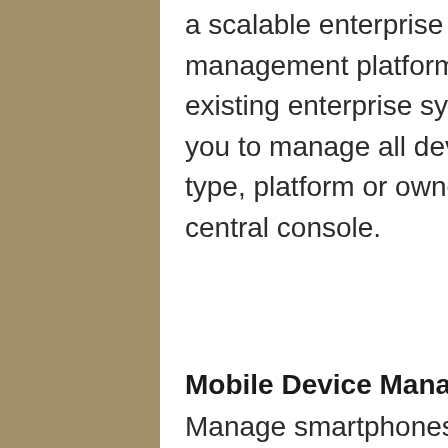AirWatch® provides a scalable enterprise mobility management platform that integrates with existing enterprise systems and allows you to manage all devices, regardless of type, platform or ownership, from one central console.
Mobile Device Management
Manage smartphones, tablets, and laptops in your network from a single console.  AirWatch® integrates seamlessly with your